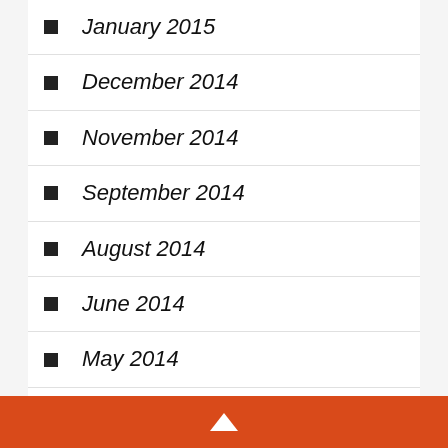January 2015
December 2014
November 2014
September 2014
August 2014
June 2014
May 2014
April 2014
March 2014